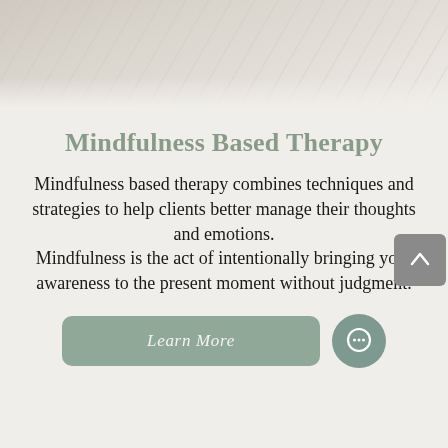[Figure (photo): Top portion of a photo showing a light-colored flat lay scene with natural/wellness items on a white surface, cropped at bottom]
Mindfulness Based Therapy
Mindfulness based therapy combines techniques and strategies to help clients better manage their thoughts and emotions. Mindfulness is the act of intentionally bringing your awareness to the present moment without judgment.
[Figure (other): Learn More button (rounded rectangle, sage green) and chat bubble icon button (teal circle) and scroll-up arrow button (gray square)]